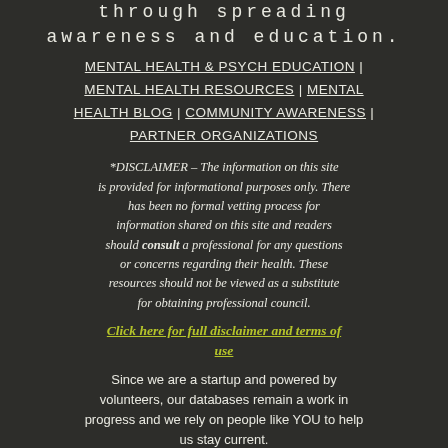through spreading awareness and education.
MENTAL HEALTH & PSYCH EDUCATION | MENTAL HEALTH RESOURCES | MENTAL HEALTH BLOG | COMMUNITY AWARENESS | PARTNER ORGANIZATIONS
*DISCLAIMER – The information on this site is provided for informational purposes only. There has been no formal vetting process for information shared on this site and readers should consult a professional for any questions or concerns regarding their health. These resources should not be viewed as a substitute for obtaining professional council.
Click here for full disclaimer and terms of use
Since we are a startup and powered by volunteers, our databases remain a work in progress and we rely on people like YOU to help us stay current. Please e-mail us at info@jproactive.com to share resources, ideas, or to submit a blog post. We